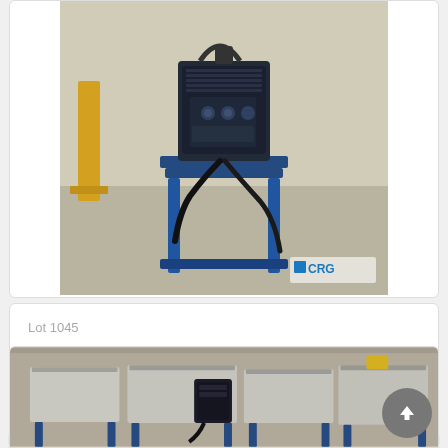[Figure (photo): Photo of a Miller AXCESS 300 welder unit on a blue metal stand frame, in a warehouse/industrial setting. CRG watermark in bottom-right corner of the photo.]
Lot 1045
Miller AXCESS 300 welder, 3 phase With wire feed
VIEW
Lot closed
Lot location: Stow, Ohio
[Figure (photo): Partial photo at bottom of page showing blue metal tables/stands with welding equipment in an industrial setting. A round scroll-to-top button overlays the bottom-right corner.]